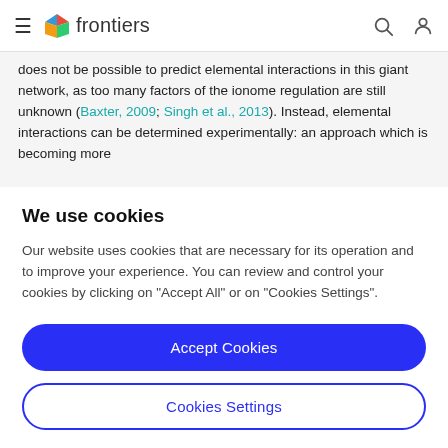frontiers [navigation bar with hamburger menu, logo, search and user icons]
does not be possible to predict elemental interactions in this giant network, as too many factors of the ionome regulation are still unknown (Baxter, 2009; Singh et al., 2013). Instead, elemental interactions can be determined experimentally: an approach which is becoming more
We use cookies
Our website uses cookies that are necessary for its operation and to improve your experience. You can review and control your cookies by clicking on "Accept All" or on "Cookies Settings".
Accept Cookies
Cookies Settings